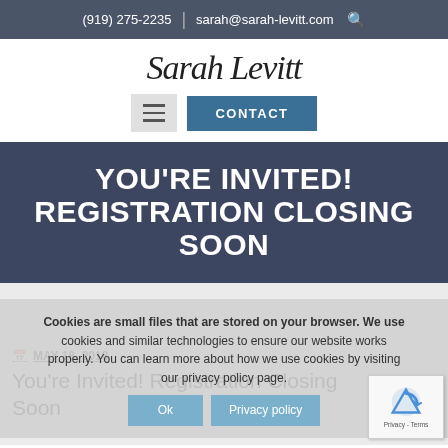(919) 275-2235 | sarah@sarah-levitt.com
[Figure (logo): Sarah Levitt cursive signature logo with hamburger menu button and CONTACT button]
YOU'RE INVITED! REGISTRATION CLOSING SOON
MAY 18, 2018
You're Invited! Registration Closing Soon
Cookies are small files that are stored on your browser. We use cookies and similar technologies to ensure our website works properly. You can learn more about how we use cookies by visiting our privacy policy page.